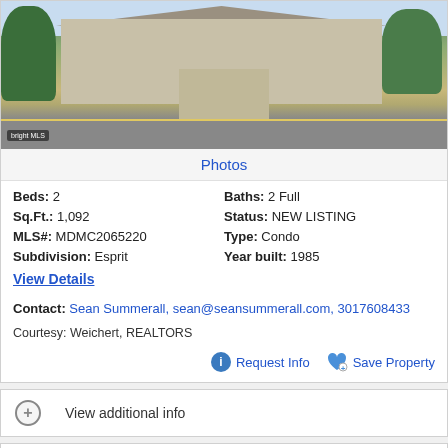[Figure (photo): Exterior photo of a condo/townhouse with trees and sidewalk, bright MLS watermark in lower left]
Photos
Beds: 2   Baths: 2 Full
Sq.Ft.: 1,092   Status: NEW LISTING
MLS#: MDMC2065220   Type: Condo
Subdivision: Esprit   Year built: 1985
View Details
Contact: Sean Summerall, sean@seansummerall.com, 3017608433
Courtesy: Weichert, REALTORS
Request Info   Save Property
View additional info